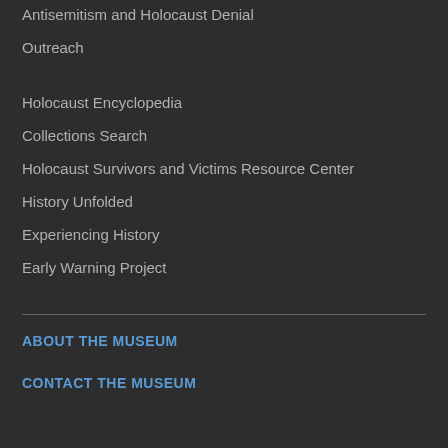Antisemitism and Holocaust Denial
Outreach
Holocaust Encyclopedia
Collections Search
Holocaust Survivors and Victims Resource Center
History Unfolded
Experiencing History
Early Warning Project
ABOUT THE MUSEUM
CONTACT THE MUSEUM